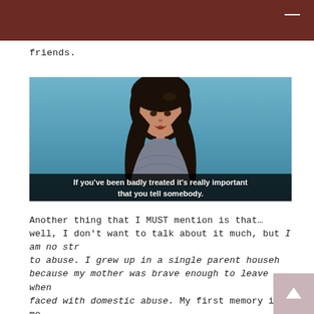friends.
[Figure (screenshot): Video still of a young girl with long brown hair speaking against a blue background. Subtitle text reads: "If you've been badly treated it's really important that you tell somebody."]
Another thing that I MUST mention is that… well, I don't want to talk about it much, but I am no stranger to abuse. I grew up in a single parent household because my mother was brave enough to leave when faced with domestic abuse. My first memory is me